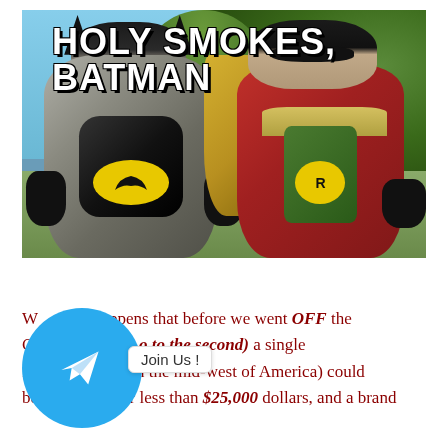[Figure (photo): Batman and Robin in costume from the 1960s TV show, standing side by side outdoors. Batman wears a grey suit with black cape, bat symbol on chest. Robin wears red tunic with yellow cape and R symbol. White bold text overlay reads HOLY SMOKES, BATMAN at the top.]
What happens that before we went OFF the Grid (to the second) a single family farm (located in the mid-west of America) could be purchased for less than $25,000 dollars, and a brand
[Figure (logo): Telegram messenger logo: blue circle with white paper plane arrow pointing upper right. Overlaid with a white speech bubble tooltip reading 'Join Us !']